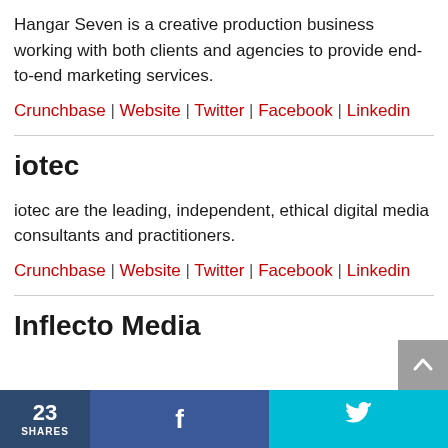Hangar Seven is a creative production business working with both clients and agencies to provide end-to-end marketing services.
Crunchbase | Website | Twitter | Facebook | Linkedin
iotec
iotec are the leading, independent, ethical digital media consultants and practitioners.
Crunchbase | Website | Twitter | Facebook | Linkedin
Inflecto Media
23 SHARES  [Facebook share]  [Twitter share]